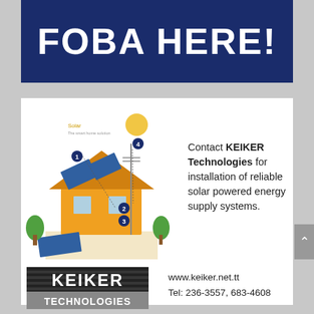FOBA HERE!
[Figure (illustration): Isometric diagram of a house with solar panels on the roof and ground, numbered markers 1-4 indicating components of a solar power system, with a sun symbol and the label 'Solar' with subtext 'The smart home solution']
Contact KEIKER Technologies for installation of reliable solar powered energy supply systems.
[Figure (logo): KEIKER TECHNOLOGIES logo with white text on black/grey striped background]
www.keiker.net.tt
Tel: 236-3557, 683-4608